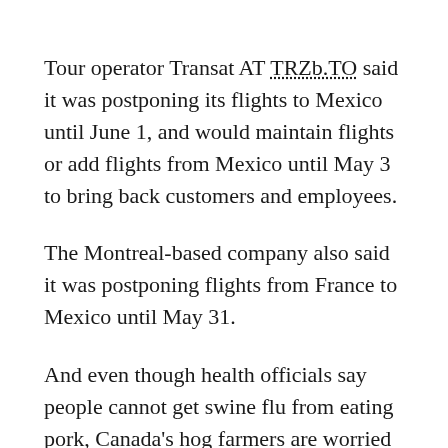Tour operator Transat AT TRZb.TO said it was postponing its flights to Mexico until June 1, and would maintain flights or add flights from Mexico until May 3 to bring back customers and employees.
The Montreal-based company also said it was postponing flights from France to Mexico until May 31.
And even though health officials say people cannot get swine flu from eating pork, Canada's hog farmers are worried about the name association. The Canadian Pork Council issued a statement asking government officials to stop calling the virus the swine flu and instead call it North American influenza. (Additional